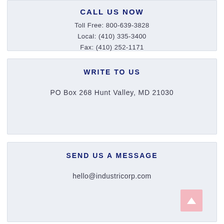CALL US NOW
Toll Free: 800-639-3828
Local: (410) 335-3400
Fax: (410) 252-1171
WRITE TO US
PO Box 268 Hunt Valley, MD 21030
SEND US A MESSAGE
hello@industricorp.com